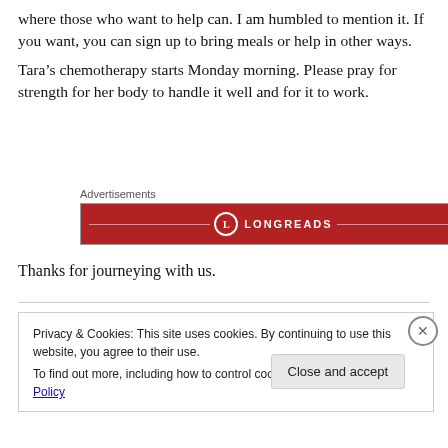where those who want to help can. I am humbled to mention it. If you want, you can sign up to bring meals or help in other ways.
Tara’s chemotherapy starts Monday morning. Please pray for strength for her body to handle it well and for it to work.
[Figure (other): Advertisements banner with Longreads logo on dark red background]
Thanks for journeying with us.
Privacy & Cookies: This site uses cookies. By continuing to use this website, you agree to their use.
To find out more, including how to control cookies, see here: Cookie Policy